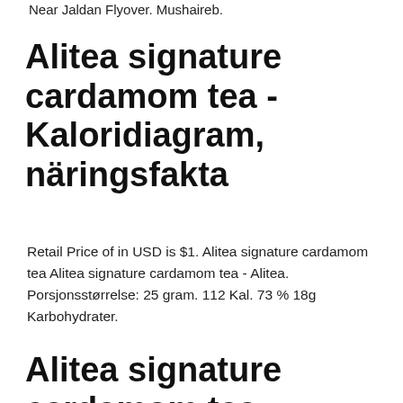Near Jaldan Flyover. Mushaireb.
Alitea signature cardamom tea - Kaloridiagram, näringsfakta
Retail Price of in USD is $1. Alitea signature cardamom tea Alitea signature cardamom tea - Alitea. Porsjonsstørrelse: 25 gram. 112 Kal. 73 % 18g Karbohydrater.
Alitea signature cardamom tea - Kaloridiagram, näringsfakta